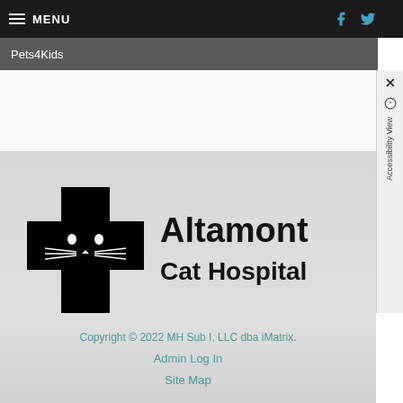MENU
Pets4Kids
[Figure (logo): Altamont Cat Hospital logo — black medical cross with a cat face silhouette, beside bold text 'Altamont Cat Hospital']
Copyright © 2022 MH Sub I, LLC dba iMatrix.
Admin Log In
Site Map